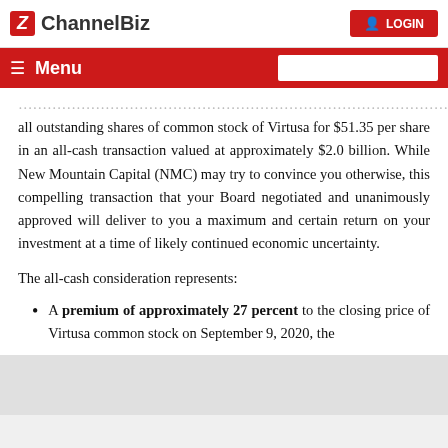ChannelBiz | LOGIN
Menu
all outstanding shares of common stock of Virtusa for $51.35 per share in an all-cash transaction valued at approximately $2.0 billion. While New Mountain Capital (NMC) may try to convince you otherwise, this compelling transaction that your Board negotiated and unanimously approved will deliver to you a maximum and certain return on your investment at a time of likely continued economic uncertainty.
The all-cash consideration represents:
A premium of approximately 27 percent to the closing price of Virtusa common stock on September 9, 2020, the